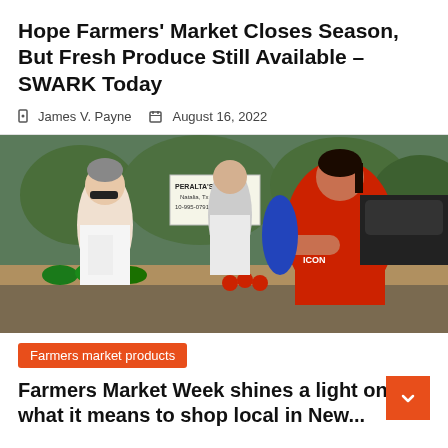Hope Farmers' Market Closes Season, But Fresh Produce Still Available – SWARK Today
James V. Payne  |  August 16, 2022
[Figure (photo): A woman in a red shirt at a farmers market stand handing produce to a customer. A sign reading 'Peralta's Farm, Natalia, TX, 210-985-0791' is visible in the background along with watermelons and other produce.]
Farmers market products
Farmers Market Week shines a light on what it means to shop local in New...